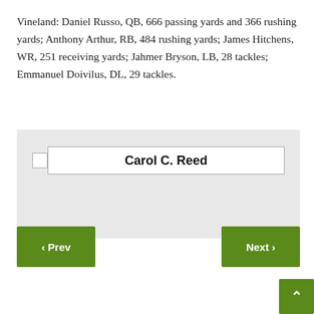Vineland: Daniel Russo, QB, 666 passing yards and 366 rushing yards; Anthony Arthur, RB, 484 rushing yards; James Hitchens, WR, 251 receiving yards; Jahmer Bryson, LB, 28 tackles; Emmanuel Doivilus, DL, 29 tackles.
[Figure (other): Author signature box with checkbox and bold name 'Carol C. Reed' on light gray background]
< Prev
Next >